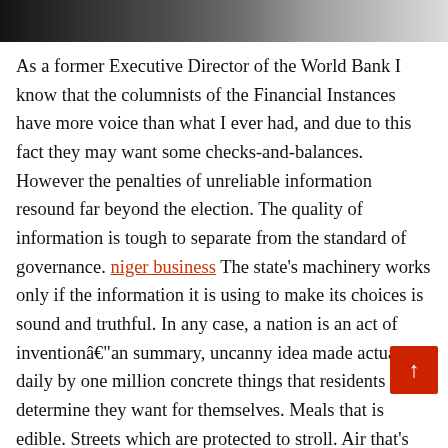[Figure (photo): Partial image strip at top of page showing a dark/grayscale photo, appears to be a person or scene, cropped at top.]
As a former Executive Director of the World Bank I know that the columnists of the Financial Instances have more voice than what I ever had, and due to this fact they may want some checks-and-balances. However the penalties of unreliable information resound far beyond the election. The quality of information is tough to separate from the standard of governance. niger business The state’s machinery works only if the information it is using to make its choices is sound and truthful. In any case, a nation is an act of inventionâ€“an summary, uncanny idea made actual daily by one million concrete things that residents determine they want for themselves. Meals that is edible. Streets which are protected to stroll. Air that’s clean. Workplaces that treat individuals properly. It’s in the measures of those qualitiesâ€“ho edible? how protected? how clean? how effectively?